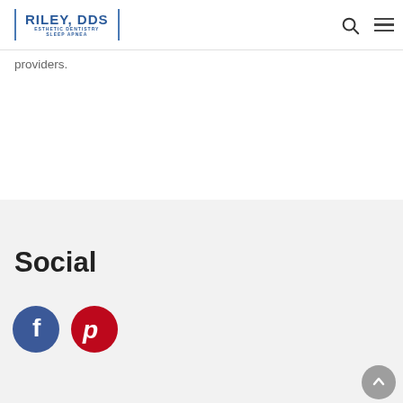Riley, DDS — Esthetic Dentistry Sleep Apnea
providers.
Social
[Figure (logo): Facebook circle icon (blue) and Pinterest circle icon (red)]